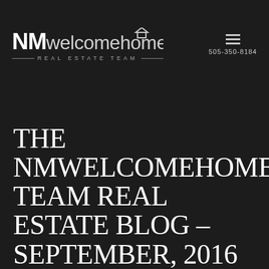[Figure (logo): NM Welcome Home Real Estate Team logo — bold white NM followed by lighter 'welcomehome' text with a small house icon above the letter O, and 'Real Estate Team' subtitle in spaced uppercase letters flanked by horizontal rules]
505-350-8184
THE NMWELCOMEHOME TEAM REAL ESTATE BLOG – SEPTEMBER, 2016